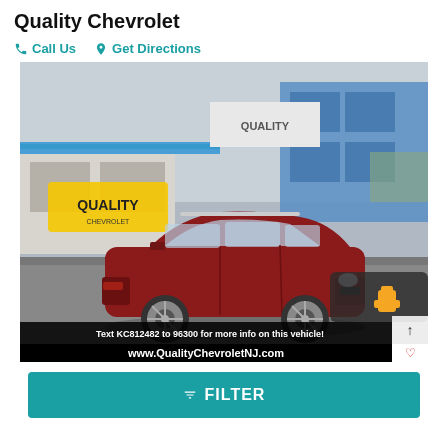Quality Chevrolet
Call Us   Get Directions
[Figure (photo): Red Nissan Rogue SUV parked in front of Quality Chevrolet dealership. Black overlay bar at bottom reads: Text KC812482 to 96300 for more info on this vehicle! Below that: www.QualityChevroletNJ.com]
▼ FILTER